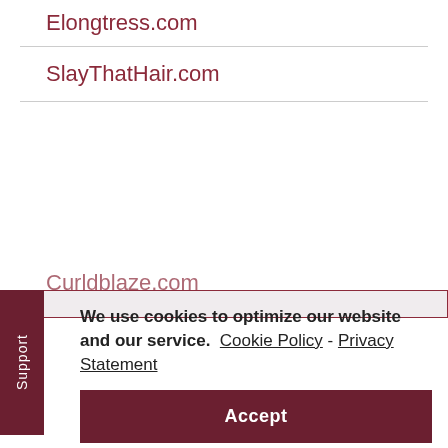Elongtress.com
SlayThatHair.com
We use cookies to optimize our website and our service. Cookie Policy - Privacy Statement
Accept
COPYRIGHT © 2022 · BLACK HAIR INFORMATION — A COILS MEDIA LTD WEBSITE. ALL RIGHTS RESERVED · LOG IN